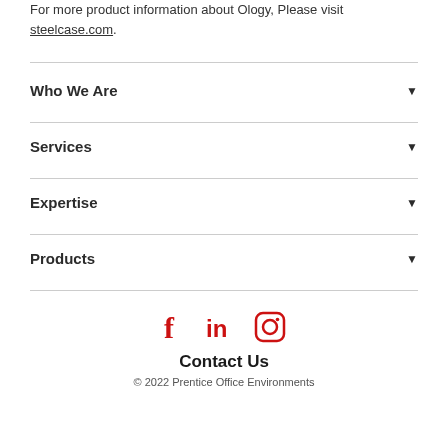For more product information about Ology, Please visit steelcase.com.
Who We Are
Services
Expertise
Products
[Figure (infographic): Social media icons: Facebook (f), LinkedIn (in), Instagram (camera icon) in red]
Contact Us
© 2022 Prentice Office Environments